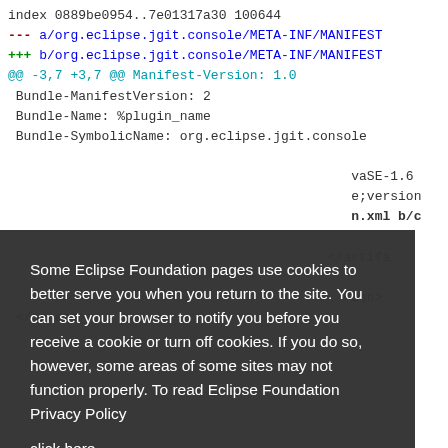index 0889be0954..7e01317a30 100644
--- a/org.eclipse.jgit.console/META-INF/MANIFEST
+++ b/org.eclipse.jgit.console/META-INF/MANIFEST
@@ -3,7 +3,7 @@ Manifest-Version: 1.0
 Bundle-ManifestVersion: 2
 Bundle-Name: %plugin_name
 Bundle-SymbolicName: org.eclipse.jgit.console
 ...
 ...vaSE-1.6
 ...e;version
 ...n.xml b/c
 ...</artifac
 ...<ion>
 </parent>
Some Eclipse Foundation pages use cookies to better serve you when you return to the site. You can set your browser to notify you before you receive a cookie or turn off cookies. If you do so, however, some areas of some sites may not function properly. To read Eclipse Foundation Privacy Policy click here.